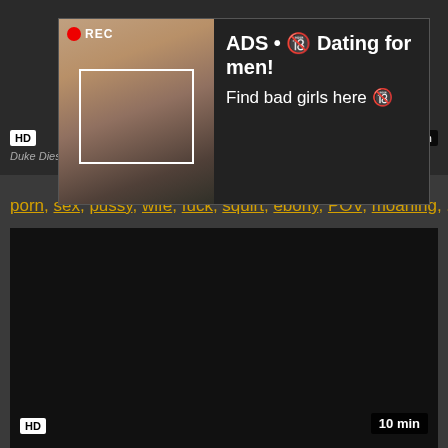[Figure (screenshot): Adult video thumbnail with HD badge, partially visible, with ad overlay]
[Figure (screenshot): Ad overlay: woman taking bathroom selfie with camera focus box and REC indicator. Text: ADS • 🔞 Dating for men! Find bad girls here 🔞]
Duke Diesel And Porn Sex Pussy
porn, sex, pussy, wife, fuck, squirt, ebony, POV, moaning, ...
[Figure (screenshot): Adult video thumbnail, dark/black frame with HD badge and 10 min duration label]